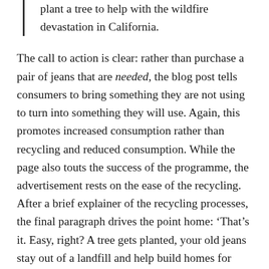plant a tree to help with the wildfire devastation in California.
The call to action is clear: rather than purchase a pair of jeans that are needed, the blog post tells consumers to bring something they are not using to turn into something they will use. Again, this promotes increased consumption rather than recycling and reduced consumption. While the page also touts the success of the programme, the advertisement rests on the ease of the recycling. After a brief explainer of the recycling processes, the final paragraph drives the point home: ‘That’s it. Easy, right? A tree gets planted, your old jeans stay out of a landfill and help build homes for those in need, and you get $10 off your new favorite pair.’
Despite these pronouncements, the fine print proves problematic. A user by the name of ‘Lindsey’ asked when the